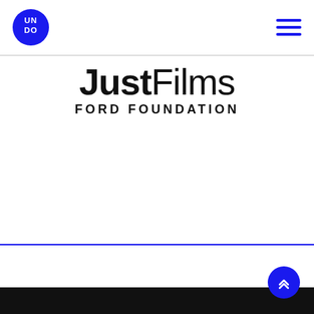[Figure (logo): UNDO circular logo — blue circle with white text 'UN' on top and 'DO' below]
[Figure (other): Hamburger menu icon — three blue horizontal lines]
[Figure (logo): JustFilms Ford Foundation logo — bold 'Just' followed by regular 'Films' on one line, 'FORD FOUNDATION' in spaced caps below]
[Figure (other): Blue circular scroll-to-top button with double chevron up arrow, bottom right corner]